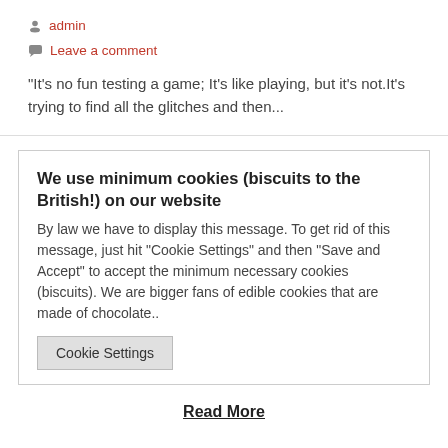admin
Leave a comment
“It’s no fun testing a game; It’s like playing, but it’s not.It’s trying to find all the glitches and then...
We use minimum cookies (biscuits to the British!) on our website
By law we have to display this message. To get rid of this message, just hit "Cookie Settings" and then "Save and Accept" to accept the minimum necessary cookies (biscuits). We are bigger fans of edible cookies that are made of chocolate..
Cookie Settings
Read More